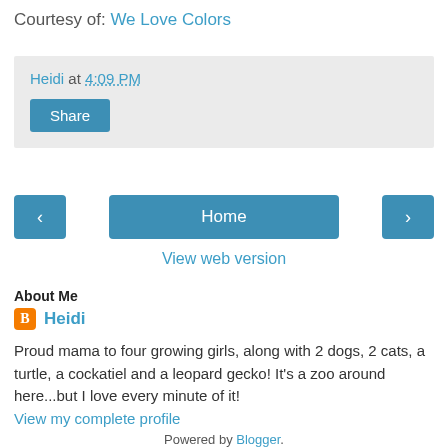Courtesy of: We Love Colors
Heidi at 4:09 PM
Share
‹
Home
›
View web version
About Me
Heidi
Proud mama to four growing girls, along with 2 dogs, 2 cats, a turtle, a cockatiel and a leopard gecko! It's a zoo around here...but I love every minute of it!
View my complete profile
Powered by Blogger.